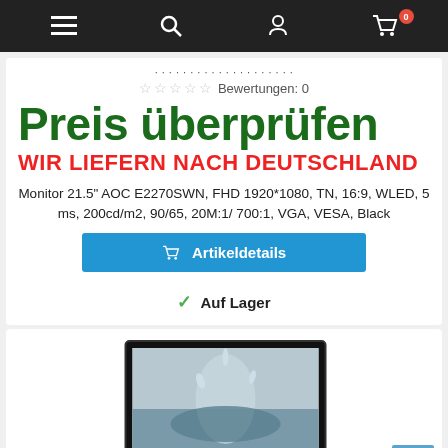Navigation bar with menu, search, account, and cart (0 items) icons
Bewertungen: 0
Preis überprüfen
WIR LIEFERN NACH DEUTSCHLAND
Monitor 21.5" AOC E2270SWN, FHD 1920*1080, TN, 16:9, WLED, 5 ms, 200cd/m2, 90/65, 20M:1/ 700:1, VGA, VESA, Black
Artikeldetails
Auf Lager
[Figure (photo): AOC monitor displaying a water splash image, shown from front angle]